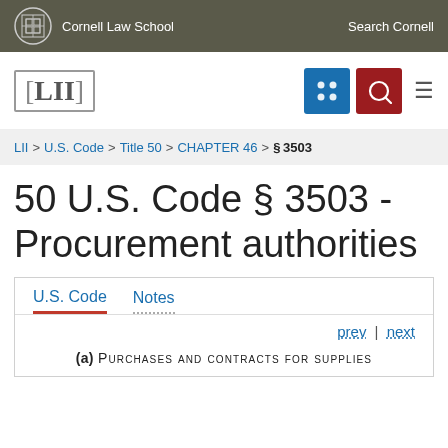Cornell Law School   Search Cornell
[Figure (logo): LII Legal Information Institute logo with bracket notation [LII]]
LII > U.S. Code > Title 50 > CHAPTER 46 > §3503
50 U.S. Code § 3503 - Procurement authorities
U.S. Code   Notes
prev | next
(a) Purchases and contracts for supplies